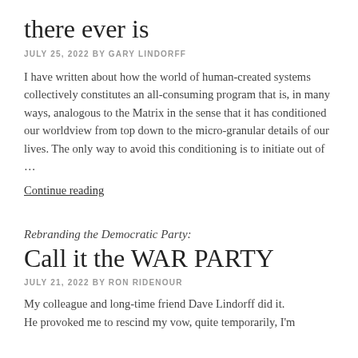there ever is
JULY 25, 2022 BY GARY LINDORFF
I have written about how the world of human-created systems collectively constitutes an all-consuming program that is, in many ways, analogous to the Matrix in the sense that it has conditioned our worldview from top down to the micro-granular details of our lives. The only way to avoid this conditioning is to initiate out of …
Continue reading
Rebranding the Democratic Party:
Call it the WAR PARTY
JULY 21, 2022 BY RON RIDENOUR
My colleague and long-time friend Dave Lindorff did it. He provoked me to rescind my vow, quite temporarily, I'm